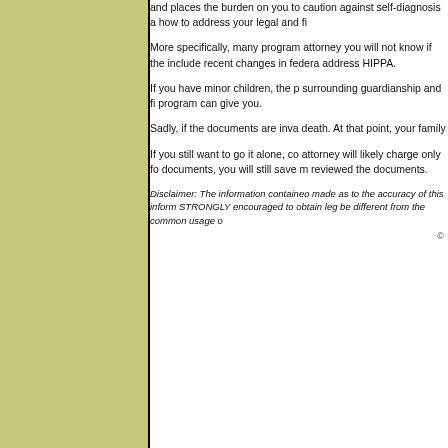and places the burden on you to caution against self-diagnosis a how to address your legal and fi
More specifically, many program attorney you will not know if the include recent changes in federa address HIPPA.
If you have minor children, the p surrounding guardianship and fi program can give you.
Sadly, if the documents are inva death. At that point, your family
If you still want to go it alone, co attorney will likely charge only fo documents, you will still save m reviewed the documents.
Disclaimer: The information containeo made as to the accuracy of this inform STRONGLY encouraged to obtain leg be different from the common usage o